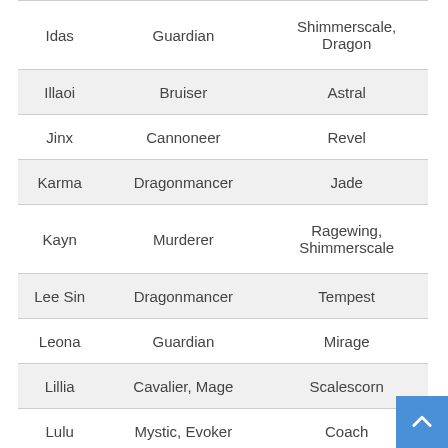| Name | Class | Origin |
| --- | --- | --- |
| Idas | Guardian | Shimmerscale, Dragon |
| Illaoi | Bruiser | Astral |
| Jinx | Cannoneer | Revel |
| Karma | Dragonmancer | Jade |
| Kayn | Murderer | Ragewing, Shimmerscale |
| Lee Sin | Dragonmancer | Tempest |
| Leona | Guardian | Mirage |
| Lillia | Cavalier, Mage | Scalescorn |
| Lulu | Mystic, Evoker | Coach |
| Nami | Mage, Mystic | Astral |
| Neeko | Shapeshifter | Jade |